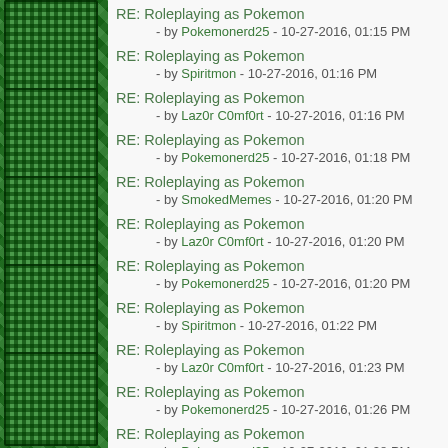RE: Roleplaying as Pokemon - by Pokemonerd25 - 10-27-2016, 01:15 PM
RE: Roleplaying as Pokemon - by Spiritmon - 10-27-2016, 01:16 PM
RE: Roleplaying as Pokemon - by Laz0r C0mf0rt - 10-27-2016, 01:16 PM
RE: Roleplaying as Pokemon - by Pokemonerd25 - 10-27-2016, 01:18 PM
RE: Roleplaying as Pokemon - by SmokedMemes - 10-27-2016, 01:20 PM
RE: Roleplaying as Pokemon - by Laz0r C0mf0rt - 10-27-2016, 01:20 PM
RE: Roleplaying as Pokemon - by Pokemonerd25 - 10-27-2016, 01:20 PM
RE: Roleplaying as Pokemon - by Spiritmon - 10-27-2016, 01:22 PM
RE: Roleplaying as Pokemon - by Laz0r C0mf0rt - 10-27-2016, 01:23 PM
RE: Roleplaying as Pokemon - by Pokemonerd25 - 10-27-2016, 01:26 PM
RE: Roleplaying as Pokemon - by Pokemonerd25 - 10-27-2016, 01:28 PM
RE: Roleplaying as Pokemon - by Laz0r C0mf0rt - 10-27-2016, 01:29 PM
RE: Roleplaying as Pokemon - by Pokemonerd25 - 10-27-2016, 01:30 PM
RE: Roleplaying as Pokemon